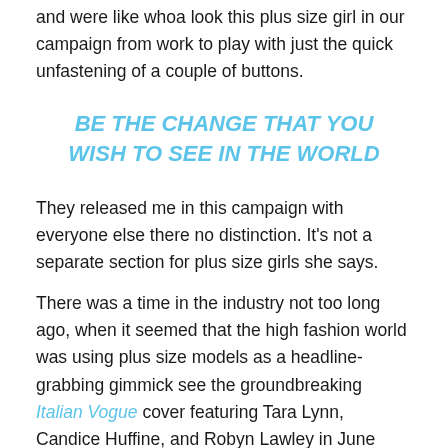and were like whoa look this plus size girl in our campaign from work to play with just the quick unfastening of a couple of buttons.
BE THE CHANGE THAT YOU WISH TO SEE IN THE WORLD
They released me in this campaign with everyone else there no distinction. It's not a separate section for plus size girls she says.
There was a time in the industry not too long ago, when it seemed that the high fashion world was using plus size models as a headline-grabbing gimmick see the groundbreaking Italian Vogue cover featuring Tara Lynn, Candice Huffine, and Robyn Lawley in June 2016.